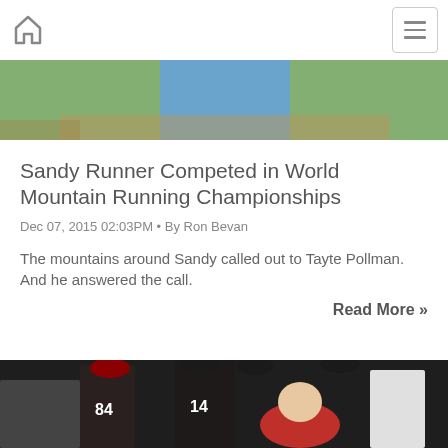Home | Menu
[Figure (photo): Top portion of an athlete in a blue shirt outdoors on grass]
Sandy Runner Competed in World Mountain Running Championships
Dec 07, 2015 02:03PM • By Ron Bevan
The mountains around Sandy called out to Tayte Pollman. And he answered the call.
Read More »
[Figure (photo): Football team sideline scene with players in dark uniforms numbered 84 and 14, a coach in a red shirt in the foreground wearing glasses]